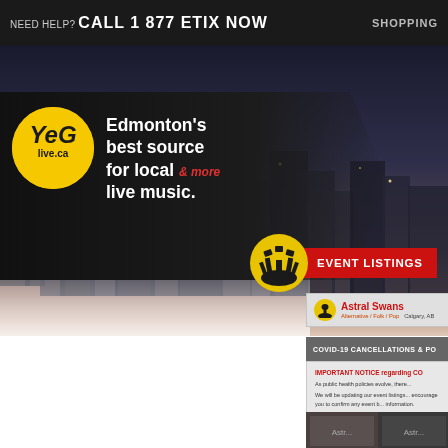NEED HELP? CALL 1 877 ETIX NOW   SHOPPING
[Figure (screenshot): YEGlive.ca banner with logo on dark background and cityscape photo. Text: Edmonton's best source for local live music. & more. EVENT LISTINGS badge with red background and silhouette icon.]
COVID-19 CANCELLATIONS & PO...
IMPORTANT NOTICE regarding CO...
As public health policies evolve, there...
We will be updating our event listings... encourage you to confirm any event b... information.
Astral Swans
Alternative / Folk / Pop   Calgary, AB